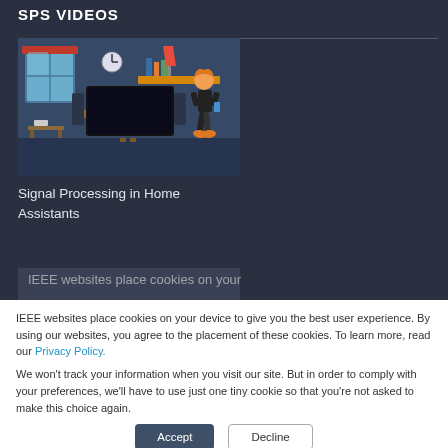SPS VIDEOS
[Figure (illustration): Animated illustration of a living room with a person, TV, bookshelf, window, and lamp in a flat design style]
Signal Processing in Home Assistants
IEEE websites place cookies on your device to give you the best user experience. By using our websites, you agree to the placement of these cookies. To learn more, read our Privacy Policy.
We won't track your information when you visit our site. But in order to comply with your preferences, we'll have to use just one tiny cookie so that you're not asked to make this choice again.